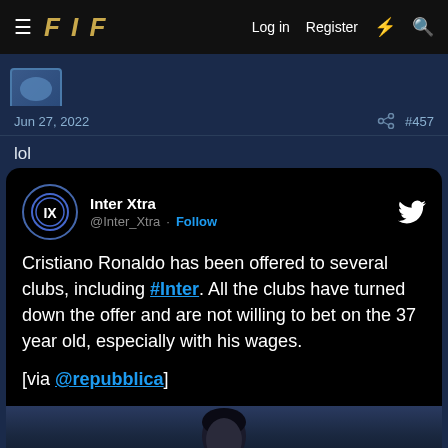FIF — Log in | Register
Jun 27, 2022 #457
lol
[Figure (screenshot): Embedded tweet from @Inter_Xtra: 'Cristiano Ronaldo has been offered to several clubs, including #Inter. All the clubs have turned down the offer and are not willing to bet on the 37 year old, especially with his wages. [via @repubblica]' with a photo of Cristiano Ronaldo at the bottom.]